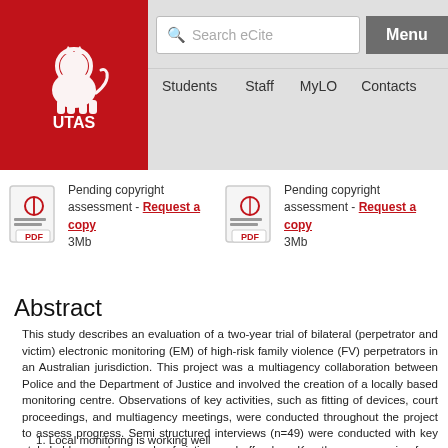[Figure (logo): UTAS (University of Tasmania) red logo with lion emblem]
Search eCite | Menu | Students | Staff | MyLO | Contacts
Pending copyright assessment - Request a copy
3Mb
Pending copyright assessment - Request a copy
3Mb
Abstract
This study describes an evaluation of a two-year trial of bilateral (perpetrator and victim) electronic monitoring (EM) of high-risk family violence (FV) perpetrators in an Australian jurisdiction. This project was a multiagency collaboration between Police and the Department of Justice and involved the creation of a locally based monitoring centre. Observations of key activities, such as fitting of devices, court proceedings, and multiagency meetings, were conducted throughout the project to assess progress. Semi structured interviews (n=49) were conducted with key stakeholders and a sample of victims and offenders. Key themes emerging from the analysis were:
1. Local monitoring is working well